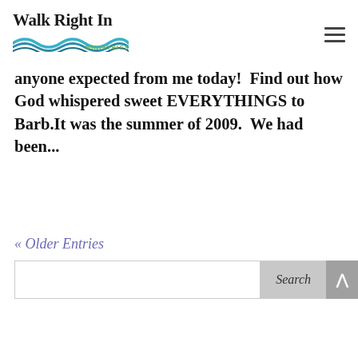Walk Right In Ministries
anyone expected from me today!  Find out how God whispered sweet EVERYTHINGS to Barb.It was the summer of 2009.  We had been...
« Older Entries
Search